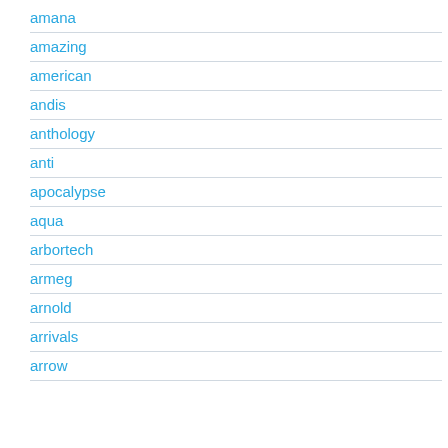amana
amazing
american
andis
anthology
anti
apocalypse
aqua
arbortech
armeg
arnold
arrivals
arrow